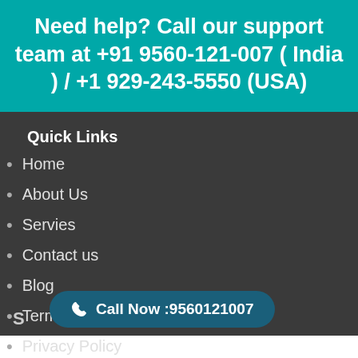Need help? Call our support team at +91 9560-121-007 ( India ) / +1 929-243-5550 (USA)
Quick Links
Home
About Us
Servies
Contact us
Blog
Terms of Services
Privacy Policy
S
Call Now :9560121007